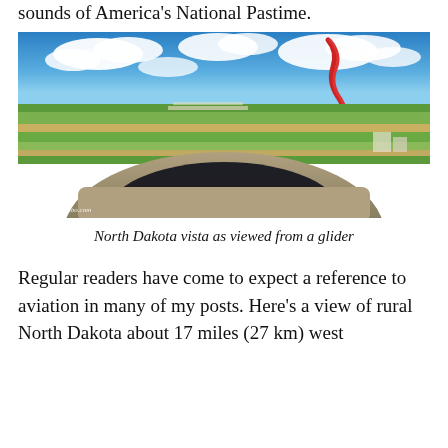sounds of America's National Pastime.
[Figure (photo): Aerial view of rural North Dakota as seen from inside a glider cockpit. The image shows green agricultural fields, a runway/airport in the middle distance, blue sky with white cumulus clouds, and a red ribbon/streamer visible in the upper right. The glider's instrument panel and canopy framing are visible at the bottom. Photo credit: © PhotoByJohnbo.com]
North Dakota vista as viewed from a glider
Regular readers have come to expect a reference to aviation in many of my posts. Here's a view of rural North Dakota about 17 miles (27 km) west